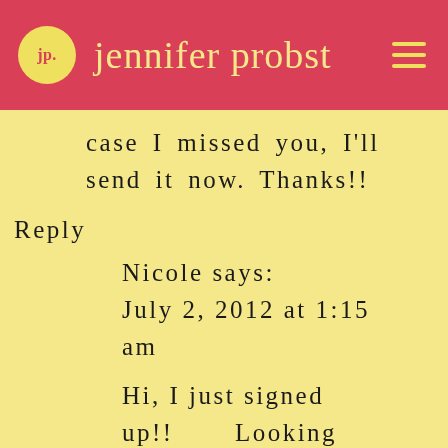jp. jennifer probst
case I missed you, I'll send it now. Thanks!!
Reply
Nicole says:
July 2, 2012 at 1:15 am
Hi, I just signed up!!      Looking